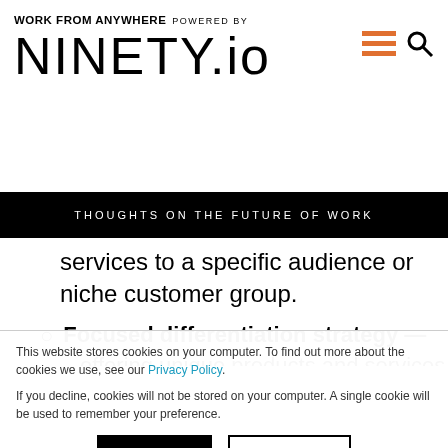WORK FROM ANYWHERE POWERED BY NINETY.io
THOUGHTS ON THE FUTURE OF WORK
services to a specific audience or niche customer group.
Focused differentiation strategy — offering unique products and services
This website stores cookies on your computer. To find out more about the cookies we use, see our Privacy Policy.
If you decline, cookies will not be stored on your computer. A single cookie will be used to remember your preference.